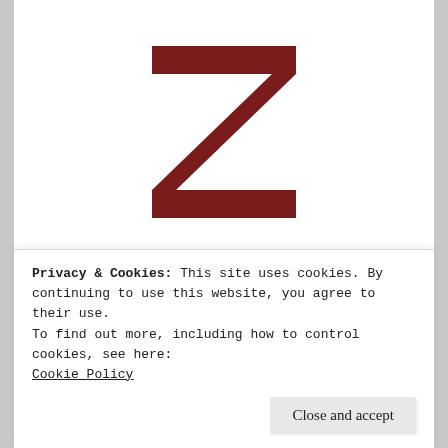[Figure (logo): Large dark red letter Z logo for Zeteo]
ZETEO
Zeteo (ζητέω): to challenge, question, dispute, explore
Privacy & Cookies: This site uses cookies. By continuing to use this website, you agree to their use.
To find out more, including how to control cookies, see here:
Cookie Policy
Close and accept